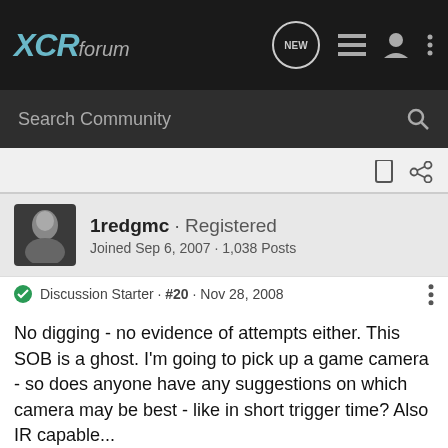XCRforum
Search Community
1redgmc · Registered
Joined Sep 6, 2007 · 1,038 Posts
Discussion Starter · #20 · Nov 28, 2008
No digging - no evidence of attempts either. This SOB is a ghost. I'm going to pick up a game camera - so does anyone have any suggestions on which camera may be best - like in short trigger time? Also IR capable...
[Figure (infographic): Kel-Tec CP33 pistol advertisement banner: text 'SEEKING LONG RANGE RELATIONSHIP' with gun image and Kel-Tec logo]
I've read... cameras... me are